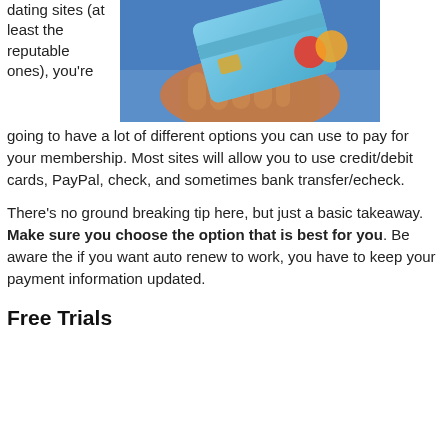dating sites (at least the reputable ones), you're going to have a lot of different options you can use to pay for your membership. Most sites will allow you to use credit/debit cards, PayPal, check, and sometimes bank transfer/echeck.
[Figure (photo): A hand holding a blue credit/debit card against a blurred background.]
There's no ground breaking tip here, but just a basic takeaway. Make sure you choose the option that is best for you. Be aware the if you want auto renew to work, you have to keep your payment information updated.
Free Trials